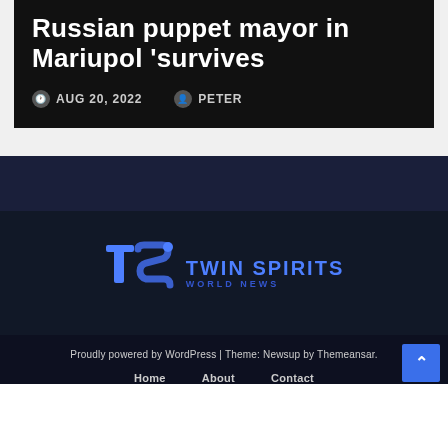Russian puppet mayor in Mariupol 'survives
AUG 20, 2022  PETER
[Figure (logo): Twin Spirits World News logo with stylized TS letters in blue and text 'TWIN SPIRITS WORLD NEWS']
Proudly powered by WordPress | Theme: Newsup by Themeansar.  Home  About  Contact